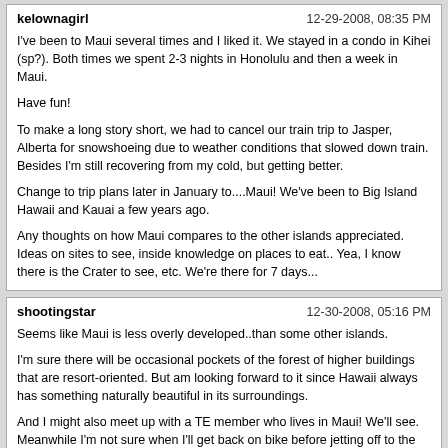kelownagirl | 12-29-2008, 08:35 PM
I've been to Maui several times and I liked it. We stayed in a condo in Kihei (sp?). Both times we spent 2-3 nights in Honolulu and then a week in Maui.

Have fun!

To make a long story short, we had to cancel our train trip to Jasper, Alberta for snowshoeing due to weather conditions that slowed down train. Besides I'm still recovering from my cold, but getting better.

Change to trip plans later in January to....Maui! We've been to Big Island Hawaii and Kauai a few years ago.

Any thoughts on how Maui compares to the other islands appreciated. Ideas on sites to see, inside knowledge on places to eat.. Yea, I know there is the Crater to see, etc. We're there for 7 days...
shootingstar | 12-30-2008, 05:16 PM
Seems like Maui is less overly developed..than some other islands.

I'm sure there will be occasional pockets of the forest of higher buildings that are resort-oriented. But am looking forward to it since Hawaii always has something naturally beautiful in its surroundings.

And I might also meet up with a TE member who lives in Maui! We'll see. Meanwhile I'm not sure when I'll get back on bike before jetting off to the isle. Am still prone of coughing-hacking jags. I can't even think about cycling right now.
Powered by vBulletin® Version 4.2.2 Copyright © 2022 vBulletin Solutions, Inc. All rights reserved.